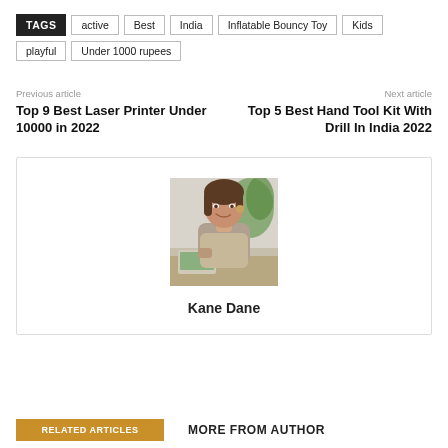TAGS  active  Best  India  Inflatable Bouncy Toy  Kids  playful  Under 1000 rupees
Previous article
Next article
Top 9 Best Laser Printer Under 10000 in 2022
Top 5 Best Hand Tool Kit With Drill In India 2022
[Figure (photo): Photo of a woman smiling, sitting at a desk with a laptop, holding food]
Kane Dane
RELATED ARTICLES
MORE FROM AUTHOR